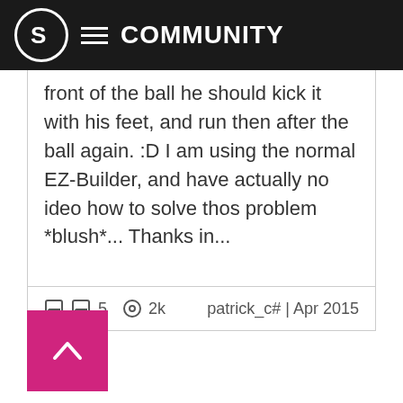S COMMUNITY
front of the ball he should kick it with his feet, and run then after the ball again. :D I am using the normal EZ-Builder, and have actually no ideo how to solve thos problem *blush*... Thanks in...
5  2k   patrick_c# | Apr 2015
[Figure (other): Pink back-to-top button with upward chevron arrow]